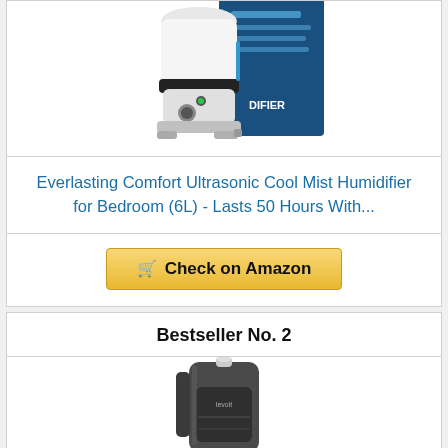[Figure (photo): White ultrasonic humidifier product photo with blue packaging box behind it]
Everlasting Comfort Ultrasonic Cool Mist Humidifier for Bedroom (6L) - Lasts 50 Hours With...
Check on Amazon
Bestseller No. 2
[Figure (photo): Levoit gray humidifier product photo, tall cylindrical design with transparent water tank]